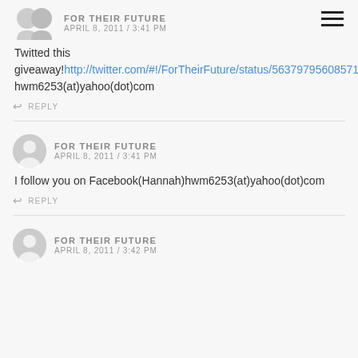FOR THEIR FUTURE APRIL 8, 2011 / 3:41 PM
Twitted this giveaway! http://twitter.com/#!/ForTheirFuture/status/56379795608571904hwm6253(at)yahoo(dot)com
REPLY
FOR THEIR FUTURE APRIL 8, 2011 / 3:41 PM
I follow you on Facebook(Hannah)hwm6253(at)yahoo(dot)com
REPLY
FOR THEIR FUTURE APRIL 8, 2011 / 3:42 PM